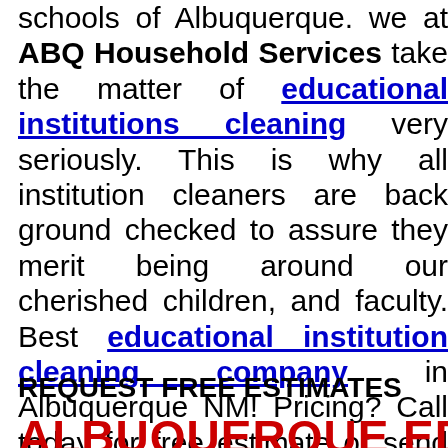schools of Albuquerque. we at ABQ Household Services take the matter of educational institutions cleaning very seriously. This is why all institution cleaners are back ground checked to assure they merit being around our cherished children, and faculty. Best educational institution cleaning company in Albuquerque NM! Pricing? Call today for free estimate or send us an email.
REQUEST FREE ESTIMATES
ALBUQUERQUE EDUCATIONAL